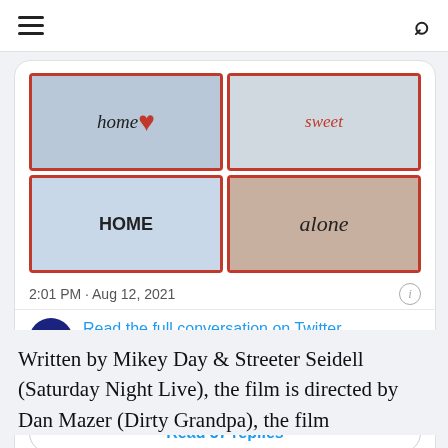☰  🔍
[Figure (screenshot): Twitter/X embedded tweet card with 4 Christmas-themed photos in a 2x2 grid. Photos show people holding signs reading 'home', 'sweet', 'HOME', and 'alone'. Tweet timestamp: 2:01 PM · Aug 12, 2021. Disney+ avatar with link: Read the full conversation on Twitter. Social actions: 1K likes, Reply, Copy link. Button: Read 57 replies.]
Written by Mikey Day & Streeter Seidell (Saturday Night Live), the film is directed by Dan Mazer (Dirty Grandpa), the film